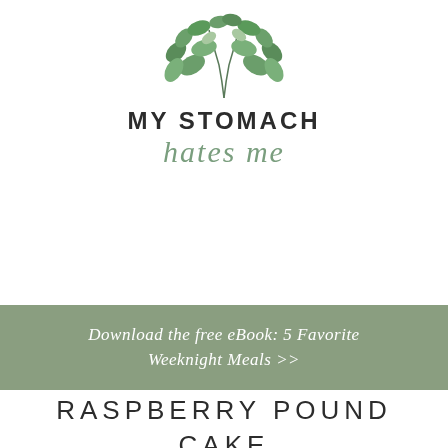[Figure (logo): Watercolor eucalyptus leaves illustration above the brand name]
MY STOMACH hates me
Download the free eBook: 5 Favorite Weeknight Meals >>
RASPBERRY POUND CAKE LOAF (GLUTEN-FREE, DAIRY-FREE)